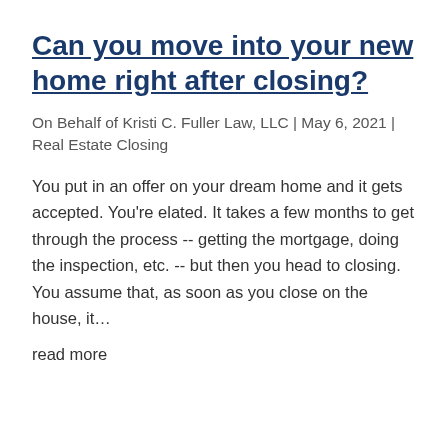Can you move into your new home right after closing?
On Behalf of Kristi C. Fuller Law, LLC | May 6, 2021 | Real Estate Closing
You put in an offer on your dream home and it gets accepted. You're elated. It takes a few months to get through the process -- getting the mortgage, doing the inspection, etc. -- but then you head to closing. You assume that, as soon as you close on the house, it…
read more